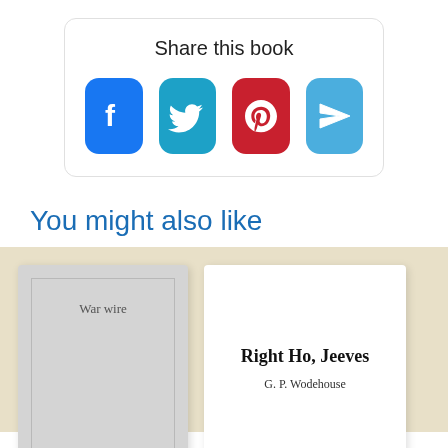Share this book
[Figure (infographic): Four social media sharing buttons: Facebook (blue), Twitter (teal), Pinterest (red), and a send/email button (light blue), each as rounded square icons.]
You might also like
[Figure (illustration): Book cover placeholder for 'War wire' — grey cover with border and title text at top.]
[Figure (illustration): Book cover for 'Right Ho, Jeeves' by G. P. Wodehouse — white cover with bold title and author name.]